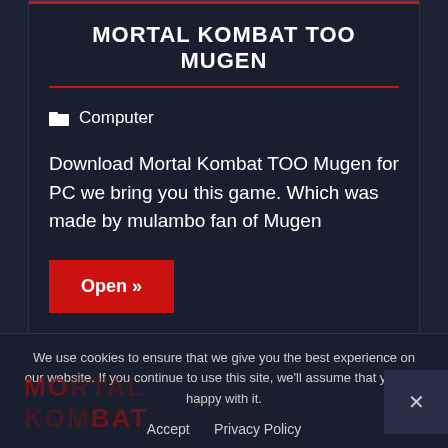MORTAL KOMBAT TOO MUGEN
Computer
Download Mortal Kombat TOO Mugen for PC we bring you this game. Which was made by mulambo fan of Mugen
Open »
We use cookies to ensure that we give you the best experience on our website. If you continue to use this site, we'll assume that you are happy with it.
Accept   Privacy Policy